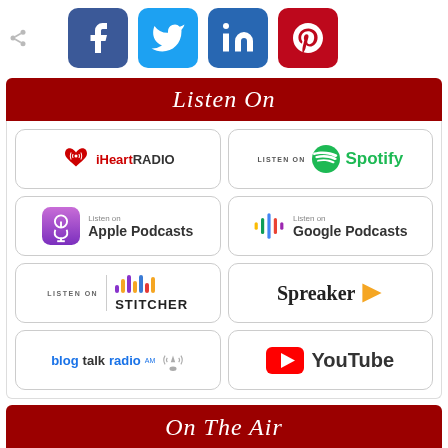[Figure (infographic): Social media share icons: Facebook (blue), Twitter (light blue), LinkedIn (dark blue), Pinterest (red)]
Listen On
[Figure (infographic): Podcast and streaming platform buttons: iHeartRADIO, Spotify, Apple Podcasts, Google Podcasts, Stitcher, Spreaker, BlogTalkRadio, YouTube]
On The Air